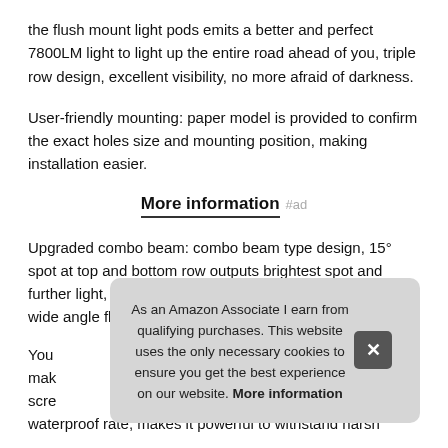the flush mount light pods emits a better and perfect 7800LM light to light up the entire road ahead of you, triple row design, excellent visibility, no more afraid of darkness.
User-friendly mounting: paper model is provided to confirm the exact holes size and mounting position, making installation easier.
More information #ad
Upgraded combo beam: combo beam type design, 15° spot at top and bottom row outputs brightest spot and further light, while 170° flood at the central row outputs wide angle flood light
You mak scre waterproof rate, makes it powerful to withstand harsh
As an Amazon Associate I earn from qualifying purchases. This website uses the only necessary cookies to ensure you get the best experience on our website. More information